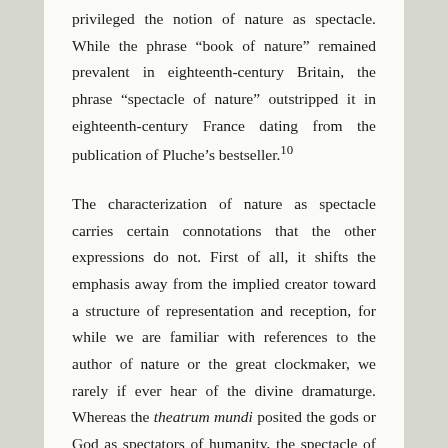privileged the notion of nature as spectacle. While the phrase “book of nature” remained prevalent in eighteenth-century Britain, the phrase “spectacle of nature” outstripped it in eighteenth-century France dating from the publication of Pluche’s bestseller.10
The characterization of nature as spectacle carries certain connotations that the other expressions do not. First of all, it shifts the emphasis away from the implied creator toward a structure of representation and reception, for while we are familiar with references to the author of nature or the great clockmaker, we rarely if ever hear of the divine dramaturge. Whereas the theatrum mundi posited the gods or God as spectators of humanity, the spectacle of nature casts